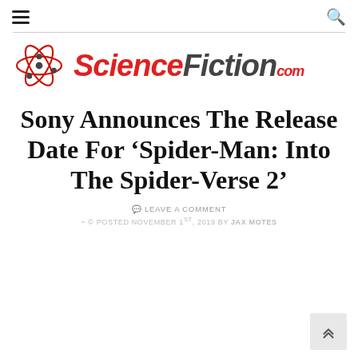ScienceFiction.com navigation bar with hamburger menu and search icon
[Figure (logo): ScienceFiction.com logo with red atom graphic and stylized text]
Sony Announces The Release Date For ‘Spider-Man: Into The Spider-Verse 2’
LEAVE A COMMENT
POSTED NOVEMBER 1ST, 2019 BY JAX MOTES